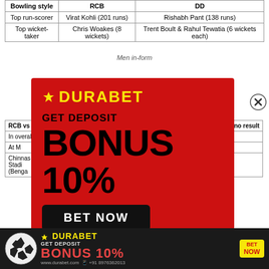| Bowling style | RCB | DD |
| --- | --- | --- |
| Top run-scorer | Virat Kohli (201 runs) | Rishabh Pant (138 runs) |
| Top wicket-taker | Chris Woakes (8 wickets) | Trent Boult & Rahul Tewatia (6 wickets each) |
Men in-form
| RCB vs ... | ... no result |
| --- | --- |
| In overall ... | ... /1 |
| At M ... |  |
| Chinnas... Stadiu... (Benga... | ... /1 |
[Figure (infographic): DURABET advertisement popup overlay on red background. Text: GET DEPOSIT BONUS 10%. BET NOW button. WhatsApp icon with +91 8976362013. Soccer ball graphic.]
[Figure (infographic): DURABET bottom banner advertisement. GET DEPOSIT BONUS 10%. BET NOW. www.durabet.com. +91 8976362013. Soccer ball icon.]